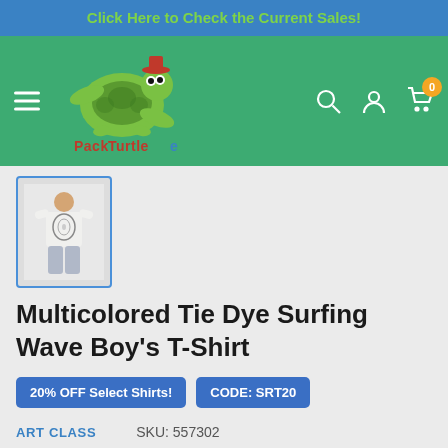Click Here to Check the Current Sales!
[Figure (logo): Pack Turtle e-commerce website logo with cartoon turtle mascot wearing a red hat on green header background with navigation icons]
[Figure (photo): Thumbnail image of a boy wearing a white tie dye t-shirt, shown from behind, with a blue border indicating it is selected]
Multicolored Tie Dye Surfing Wave Boy's T-Shirt
20% OFF Select Shirts! CODE: SRT20
ART CLASS   SKU: 557302
Size: XS